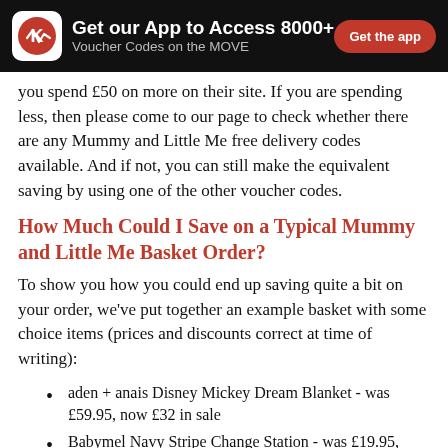Get our App to Access 8000+ Voucher Codes on the MOVE | Get the app
you spend £50 on more on their site. If you are spending less, then please come to our page to check whether there are any Mummy and Little Me free delivery codes available. And if not, you can still make the equivalent saving by using one of the other voucher codes.
How Much Could I Save on a Typical Mummy and Little Me Basket Order?
To show you how you could end up saving quite a bit on your order, we've put together an example basket with some choice items (prices and discounts correct at time of writing):
aden + anais Disney Mickey Dream Blanket - was £59.95, now £32 in sale
Babymel Navy Stripe Change Station - was £19.95, now £15 in sale